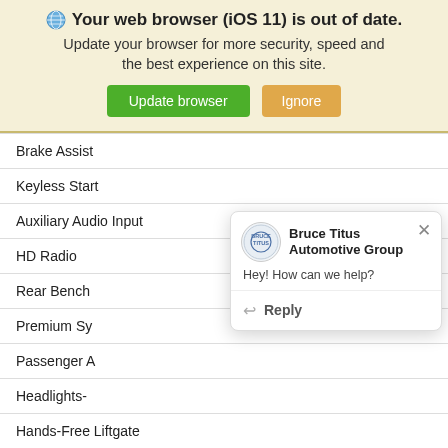[Figure (screenshot): Browser update notification banner with globe icon, bold title 'Your web browser (iOS 11) is out of date.', subtitle text, and two buttons: 'Update browser' (green) and 'Ignore' (tan/orange)]
Brake Assist
Keyless Start
Auxiliary Audio Input
HD Radio
Rear Bench
Premium Sy
Passenger A
Headlights-
Hands-Free Liftgate
WiFi Hotspot
Adaptive Cruise Control
Smart Device Integration
[Figure (screenshot): Bruce Titus Automotive Group chat popup with logo, greeting 'Hey! How can we help?', and Reply button]